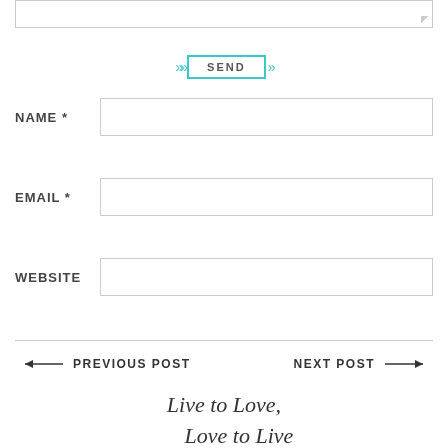[Figure (other): Textarea input box at top of page, partially visible]
[Figure (other): Send button with teal arrows on each side, styled with teal border]
NAME *
[Figure (other): Name input field (text box)]
EMAIL *
[Figure (other): Email input field (text box)]
WEBSITE
[Figure (other): Website input field (text box)]
◄— PREVIOUS POST
NEXT POST —►
Live to Love,
Love to Live